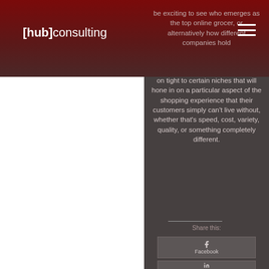[hub]consulting
be exciting to see who emerges as the top online grocer, or alternatively how different companies hold on tight to certain niches that will hone in on a particular aspect of the shopping experience that their customers simply can't live without, whether that's speed, cost, variety, quality, or something completely different.
Share this:
[Figure (other): Facebook share button with Facebook logo icon]
[Figure (other): LinkedIn share button with LinkedIn logo icon]